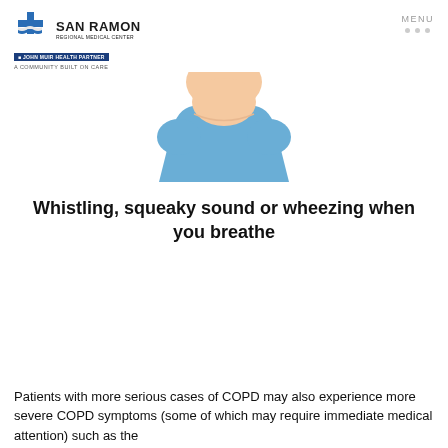SAN RAMON REGIONAL MEDICAL CENTER | A JOHN MUIR HEALTH PARTNER | A COMMUNITY BUILT ON CARE | MENU
[Figure (illustration): Partial illustration of a person wearing a blue medical top, showing shoulders and lower face/neck area, cropped at top]
Whistling, squeaky sound or wheezing when you breathe
Patients with more serious cases of COPD may also experience more severe COPD symptoms (some of which may require immediate medical attention) such as the